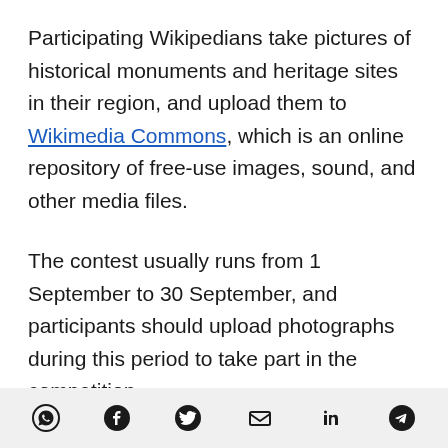Participating Wikipedians take pictures of historical monuments and heritage sites in their region, and upload them to Wikimedia Commons, which is an online repository of free-use images, sound, and other media files.
The contest usually runs from 1 September to 30 September, and participants should upload photographs during this period to take part in the competition.
Last year, Pranav Singh from Delhi won the first
[social share icons: WhatsApp, Facebook, Twitter, Email, LinkedIn, Telegram]